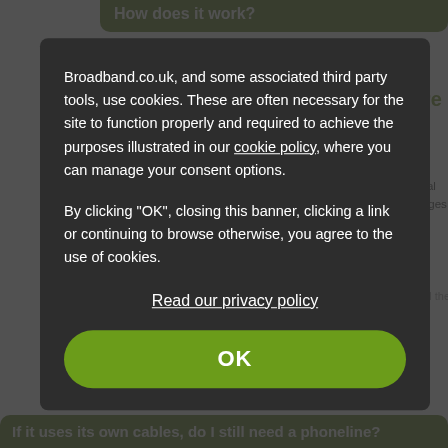How does it work?
Fibre optic broadband uses fibre optic cables to network. These are able to carry more data at hi
A broadband signal is carried between your home and the local telephon company responsible for the street cabinets, exchanges and telephone c
This network is based on copper wires, and when these are used the bro ang
pee
Broadband.co.uk, and some associated third party tools, use cookies. These are often necessary for the site to function properly and required to achieve the purposes illustrated in our cookie policy, where you can manage your consent options.

By clicking "OK", closing this banner, clicking a link or continuing to browse otherwise, you agree to the use of cookies.
Read our privacy policy
OK
If it uses its own cables, do I still need a phoneline?